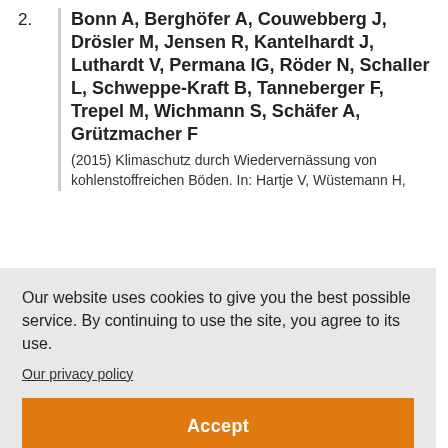2. Bonn A, Berghöfer A, Couwebberg J, Drösler M, Jensen R, Kantelhardt J, Luthardt V, Permana IG, Röder N, Schaller L, Schweppe-Kraft B, Tanneberger F, Trepel M, Wichmann S, Schäfer A, Grützmacher F
(2015) Klimaschutz durch Wiedervernässung von kohlenstoffreichen Böden. In: Hartje V, Wüstemann H, [...]
Our website uses cookies to give you the best possible service. By continuing to use the site, you agree to its use.
Our privacy policy
Accept